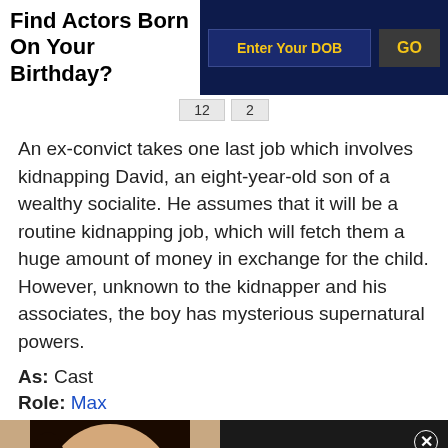Find Actors Born On Your Birthday?
12  2
An ex-convict takes one last job which involves kidnapping David, an eight-year-old son of a wealthy socialite. He assumes that it will be a routine kidnapping job, which will fetch them a huge amount of money in exchange for the child. However, unknown to the kidnapper and his associates, the boy has mysterious supernatural powers.
As: Cast
Role: Max
[Figure (photo): Video thumbnail showing a woman with dark hair, with a play button overlay. Overlay text reads: Kim Kardashian 'mortified' by backlash to 'nobody wants to work' comments]